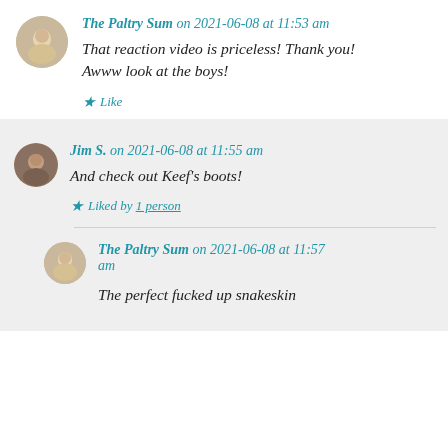The Paltry Sum on 2021-06-08 at 11:53 am
That reaction video is priceless! Thank you! Awww look at the boys!
Like
Jim S. on 2021-06-08 at 11:55 am
And check out Keef's boots!
Liked by 1 person
The Paltry Sum on 2021-06-08 at 11:57 am
The perfect fucked up snakeskin